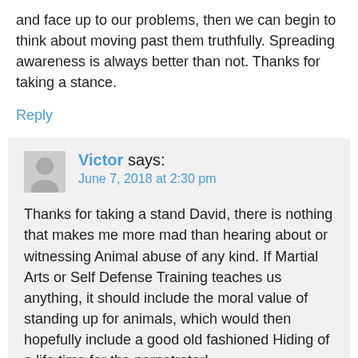and face up to our problems, then we can begin to think about moving past them truthfully. Spreading awareness is always better than not. Thanks for taking a stance.
Reply
Victor says:
June 7, 2018 at 2:30 pm
Thanks for taking a stand David, there is nothing that makes me more mad than hearing about or witnessing Animal abuse of any kind. If Martial Arts or Self Defense Training teaches us anything, it should include the moral value of standing up for animals, which would then hopefully include a good old fashioned Hiding of a life time for the perpetrator!
Reply
Leave a Reply to CC4005 Cancel reply
Your email address will not be published. Required